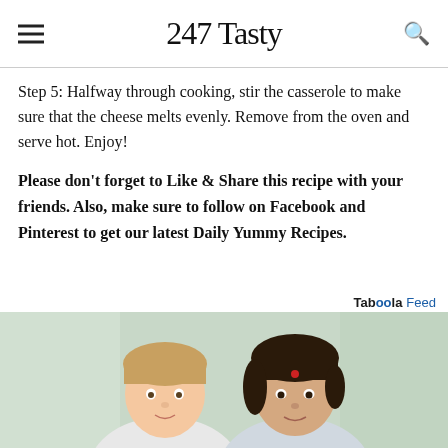247 Tasty
Step 5: Halfway through cooking, stir the casserole to make sure that the cheese melts evenly. Remove from the oven and serve hot. Enjoy!
Please don't forget to Like & Share this recipe with your friends. Also, make sure to follow on Facebook and Pinterest to get our latest Daily Yummy Recipes.
[Figure (photo): Two children photographed from the shoulders up, one with light brown hair on the left and one with dark hair on the right, in a light-colored indoor setting.]